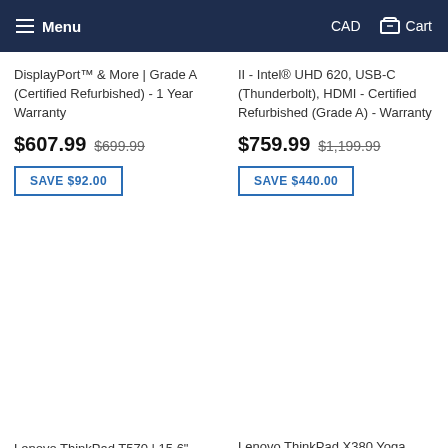Menu  CAD  Cart
DisplayPort™ & More | Grade A (Certified Refurbished) - 1 Year Warranty
$607.99  $699.99
SAVE $92.00
II - Intel® UHD 620, USB-C (Thunderbolt), HDMI - Certified Refurbished (Grade A) - Warranty
$759.99  $1,199.99
SAVE $440.00
Lenovo ThinkPad T570 | 15.6" FHD IPS (1080p) | Ultra Thin Business Laptop | Intel Core
Lenovo ThinkPad X380 Yoga